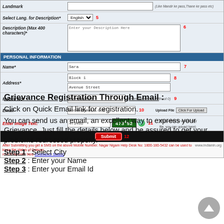[Figure (screenshot): Form screenshot showing Landmark field, Description field with language selector, Personal Information section with Name, Address, Mobile No, Email, Enter Image Text fields, Submit button, and footer note.]
Grievance Registration Through Email :
Click on Quick Email link for registration.
You can send us an email, an excellent way to express your Grievance. Just fill the details below and be assured to get your problems redressed properly.
Step 1 : Select City
Step 2 : Enter your Name
Step 3 : Enter your Email Id